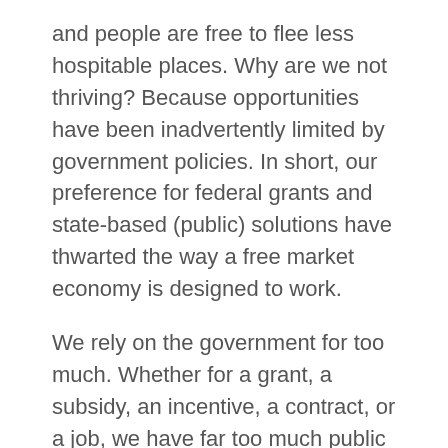and people are free to flee less hospitable places. Why are we not thriving? Because opportunities have been inadvertently limited by government policies. In short, our preference for federal grants and state-based (public) solutions have thwarted the way a free market economy is designed to work.
We rely on the government for too much. Whether for a grant, a subsidy, an incentive, a contract, or a job, we have far too much public sector involvement in our economy. Indeed, 55 percent of our economy is controlled by the public sector. Such behavior does not lead to sustainable economic growth. In prosperous economies, government plays the important